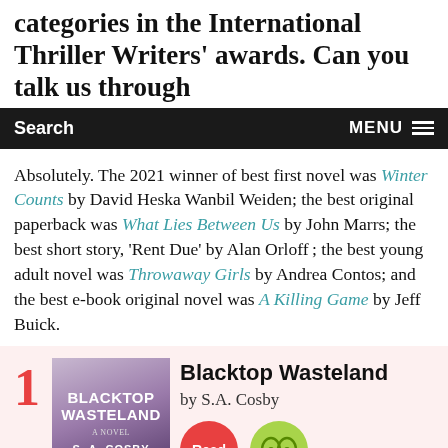categories in the International Thriller Writers' awards. Can you talk us through
Search   MENU
Absolutely. The 2021 winner of best first novel was Winter Counts by David Heska Wanbil Weiden; the best original paperback was What Lies Between Us by John Marrs; the best short story, 'Rent Due' by Alan Orloff; the best young adult novel was Throwaway Girls by Andrea Contos; and the best e-book original novel was A Killing Game by Jeff Buick.
1
[Figure (photo): Book cover of Blacktop Wasteland by S.A. Cosby, dark purple gradient background]
Blacktop Wasteland
by S.A. Cosby